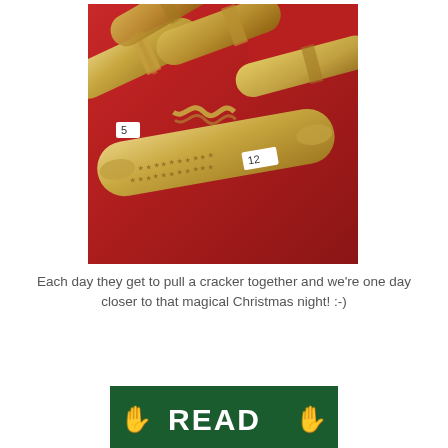[Figure (photo): Close-up photograph of gold Christmas crackers with star patterns, piled together on a red surface. Some crackers have small white paper labels with numbers written on them (visible numbers include 5 and 2).]
Each day they get to pull a cracker together and we're one day closer to that magical Christmas night! :-)
[Figure (logo): A green rectangular banner/logo with yellow hand icons on either side and the text 'READ' in white bold letters in the center.]